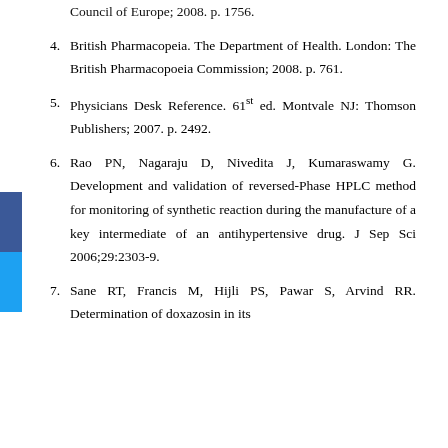Council of Europe; 2008. p. 1756.
4. British Pharmacopeia. The Department of Health. London: The British Pharmacopoeia Commission; 2008. p. 761.
5. Physicians Desk Reference. 61st ed. Montvale NJ: Thomson Publishers; 2007. p. 2492.
6. Rao PN, Nagaraju D, Nivedita J, Kumaraswamy G. Development and validation of reversed-Phase HPLC method for monitoring of synthetic reaction during the manufacture of a key intermediate of an antihypertensive drug. J Sep Sci 2006;29:2303-9.
7. Sane RT, Francis M, Hijli PS, Pawar S, Arvind RR. Determination of doxazosin in its...